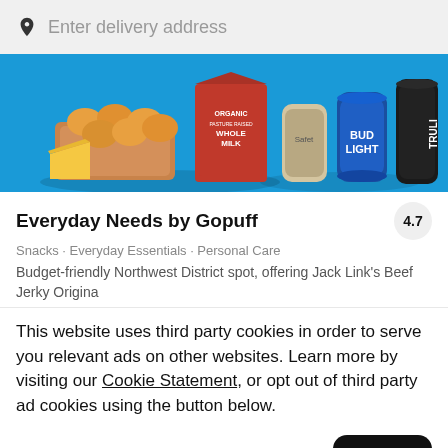Enter delivery address
[Figure (photo): Hero banner image showing grocery items: eggs, organic whole milk carton, Bud Light beer can, TRULI can, and other products on a bright blue background]
Everyday Needs by Gopuff
4.7
Snacks · Everyday Essentials · Personal Care
Budget-friendly Northwest District spot, offering Jack Link's Beef Jerky Origina
This website uses third party cookies in order to serve you relevant ads on other websites. Learn more by visiting our Cookie Statement, or opt out of third party ad cookies using the button below.
Opt out
Got it